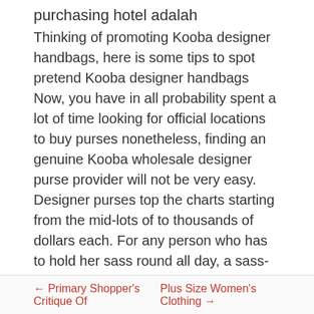purchasing hotel adalah
Thinking of promoting Kooba designer handbags, here is some tips to spot pretend Kooba designer handbags Now, you have in all probability spent a lot of time looking for official locations to buy purses nonetheless, finding an genuine Kooba wholesale designer purse provider will not be very easy. Designer purses top the charts starting from the mid-lots of to thousands of dollars each. For any person who has to hold her sass round all day, a sass-friendly purse or purse is vital. Know the brand of the designer purse you need to purchase. Smaller purses resembling clutches are perfect throughout night occasions and elegant events.
Posted in: purses
Filed under: clutches, customers, satchels, totes
← Primary Shopper's Critique Of    Plus Size Women's Clothing →